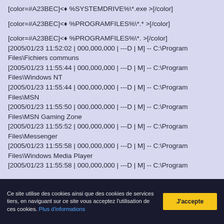[color=#A23BEC]<◆ %SYSTEMDRIVE%\*.exe >[/color]
[color=#A23BEC]<◆ %PROGRAMFILES%\*.* >[/color]
[color=#A23BEC]<◆ %PROGRAMFILES%\*. >[/color]
[2005/01/23 11:52:02 | 000,000,000 | ---D | M] -- C:\Program Files\Fichiers communs
[2005/01/23 11:55:44 | 000,000,000 | ---D | M] -- C:\Program Files\Windows NT
[2005/01/23 11:55:44 | 000,000,000 | ---D | M] -- C:\Program Files\MSN
[2005/01/23 11:55:50 | 000,000,000 | ---D | M] -- C:\Program Files\MSN Gaming Zone
[2005/01/23 11:55:52 | 000,000,000 | ---D | M] -- C:\Program Files\Messenger
[2005/01/23 11:55:58 | 000,000,000 | ---D | M] -- C:\Program Files\Windows Media Player
[2005/01/23 11:55:58 | 000,000,000 | ---D | M] -- C:\Program
Ce site utilise des cookies ainsi que des cookies de services tiers, en naviguant sur ce site vous acceptez l'utilisation de ces cookies. Plus d'informations